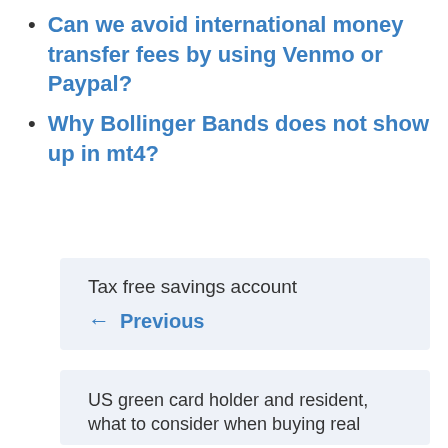Can we avoid international money transfer fees by using Venmo or Paypal?
Why Bollinger Bands does not show up in mt4?
Tax free savings account
← Previous
US green card holder and resident, what to consider when buying real